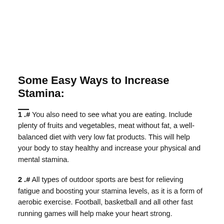Some Easy Ways to Increase Stamina:
1 .# You also need to see what you are eating. Include plenty of fruits and vegetables, meat without fat, a well-balanced diet with very low fat products. This will help your body to stay healthy and increase your physical and mental stamina.
2 .# All types of outdoor sports are best for relieving fatigue and boosting your stamina levels, as it is a form of aerobic exercise. Football, basketball and all other fast running games will help make your heart strong.